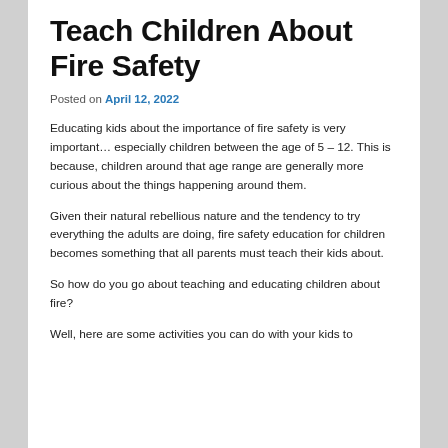Teach Children About Fire Safety
Posted on April 12, 2022
Educating kids about the importance of fire safety is very important… especially children between the age of 5 – 12. This is because, children around that age range are generally more curious about the things happening around them.
Given their natural rebellious nature and the tendency to try everything the adults are doing, fire safety education for children becomes something that all parents must teach their kids about.
So how do you go about teaching and educating children about fire?
Well, here are some activities you can do with your kids to